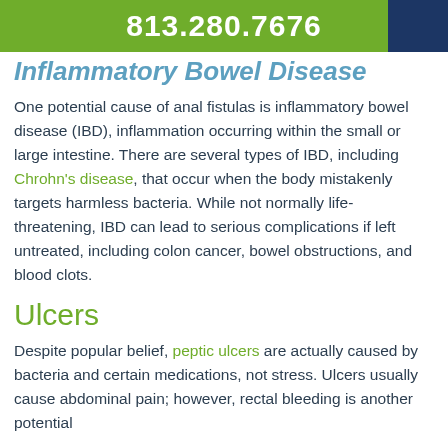813.280.7676
Inflammatory Bowel Disease
One potential cause of anal fistulas is inflammatory bowel disease (IBD), inflammation occurring within the small or large intestine. There are several types of IBD, including Chrohn's disease, that occur when the body mistakenly targets harmless bacteria. While not normally life-threatening, IBD can lead to serious complications if left untreated, including colon cancer, bowel obstructions, and blood clots.
Ulcers
Despite popular belief, peptic ulcers are actually caused by bacteria and certain medications, not stress. Ulcers usually cause abdominal pain; however, rectal bleeding is another potential